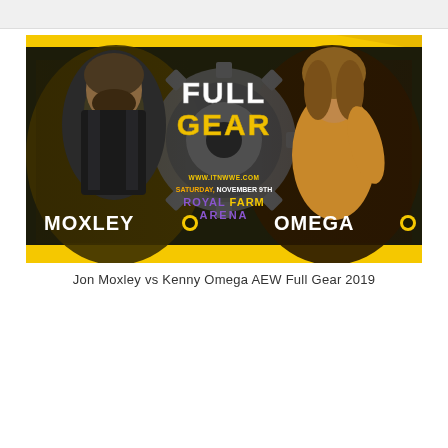[Figure (photo): AEW Full Gear 2019 promotional image featuring Jon Moxley on the left and Kenny Omega on the right against a yellow and dark background with a gear logo. Text reads: FULL GEAR, MOXLEY, OMEGA, www.itnwwe.com, SATURDAY, NOVEMBER 9TH, ROYAL FARM ARENA]
Jon Moxley vs Kenny Omega AEW Full Gear 2019